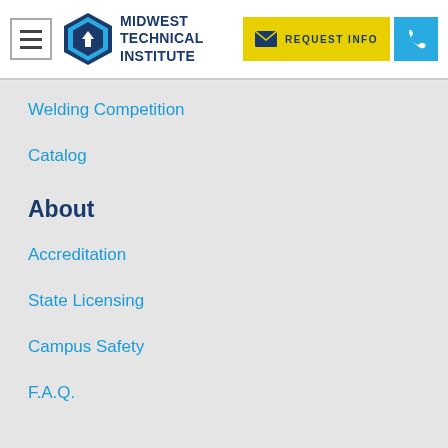[Figure (logo): Midwest Technical Institute logo with hexagon icon and text]
Welding Competition
Catalog
About
Accreditation
State Licensing
Campus Safety
F.A.Q.